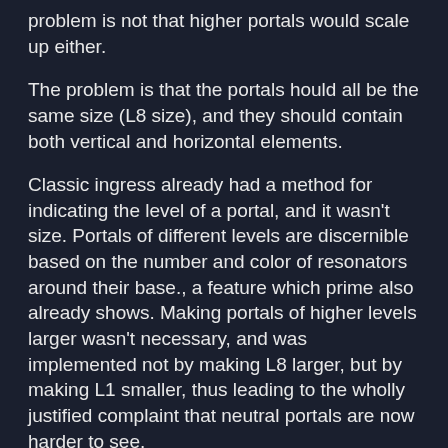problem is not that higher portals would scale up either.
The problem is that the portals hould all be the same size (L8 size), and they should contain both vertical and horizontal elements.
Classic ingress already had a method for indicating the level of a portal, and it wasn't size. Portals of different levels are discernible based on the number and color of resonators around their base., a feature which prime also already shows. Making portals of higher levels larger wasn't necessary, and was implemented not by making L8 larger, but by making L1 smaller, thus leading to the wholly justified complaint that neutral portals are now harder to see.
Classic ingress had no actual 3D rendering, and the map never tilted. 2d in prime is not a problem. Forced varying angles of view are a problem. I will literally never need to view portals in street view, especially not while close up. Having to see them this way interferes with my ability to specifically interact with multiple portals very close to me.
The only reason zoom and angle change exists like this is